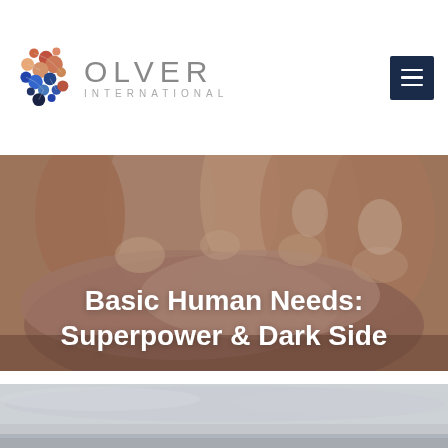[Figure (logo): Olver International logo with colorful abstract brain/molecule icon and company name]
[Figure (photo): Close-up photo of hands clasped together, warm skin tones, with large white bold text overlay reading 'Basic Human Needs: Superpower & Dark Side']
Basic Human Needs: Superpower & Dark Side
[Figure (photo): Partial bottom photo showing a grey overcast sky and horizon]